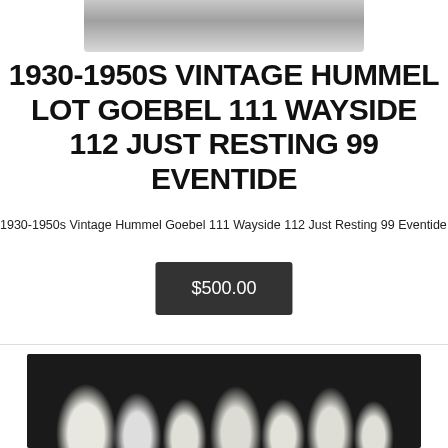[Figure (photo): Top portion of a product photo showing a blurred/cropped image with grey background, partially visible at top of page]
1930-1950S VINTAGE HUMMEL LOT GOEBEL 111 WAYSIDE 112 JUST RESTING 99 EVENTIDE
1930-1950s Vintage Hummel Goebel 111 Wayside 112 Just Resting 99 Eventide
$500.00
[Figure (photo): Photo of multiple white Hummel porcelain figurines arranged on a dark background, showing various children figurine poses]